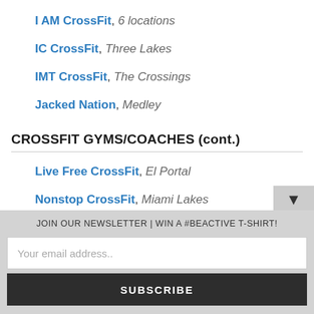I AM CrossFit, 6 locations
IC CrossFit, Three Lakes
IMT CrossFit, The Crossings
Jacked Nation, Medley
CROSSFIT GYMS/COACHES (cont.)
Live Free CrossFit, El Portal
Nonstop CrossFit, Miami Lakes
JOIN OUR NEWSLETTER | WIN A #BEACTIVE T-SHIRT!
Your email address..
SUBSCRIBE